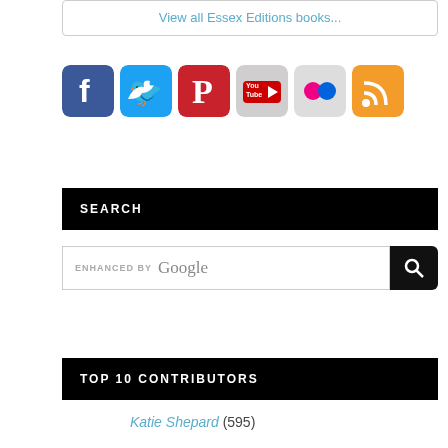View all Essex Editions books...
[Figure (infographic): Row of 6 social media icon buttons: Facebook (blue), Twitter (blue), Pinterest (red), YouTube (grey/red), Flickr (pink dots on grey), RSS (orange)]
SEARCH
enhanced by Google [search bar]
TOP 10 CONTRIBUTORS
Katie Shepard (595)